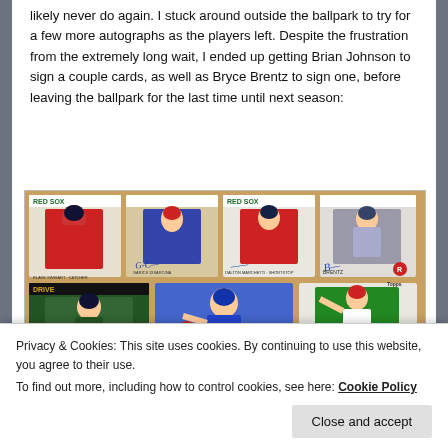likely never do again. I stuck around outside the ballpark to try for a few more autographs as the players left. Despite the frustration from the extremely long wait, I ended up getting Brian Johnson to sign a couple cards, as well as Bryce Brentz to sign one, before leaving the ballpark for the last time until next season:
[Figure (photo): Photo of baseball cards displayed in sleeves — top row shows four cards including two RED SOX cards and two others with autographs (Garick DiSarcina and Bryce Brentz visible); bottom row shows three cards including a Drive card and others with player photos.]
Privacy & Cookies: This site uses cookies. By continuing to use this website, you agree to their use.
To find out more, including how to control cookies, see here: Cookie Policy